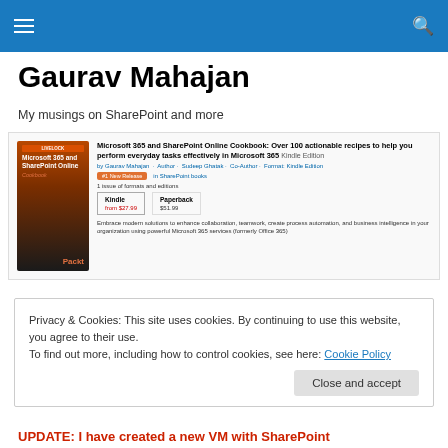Navigation bar with hamburger menu and search icon
Gaurav Mahajan
My musings on SharePoint and more
[Figure (screenshot): Screenshot of Amazon product listing for 'Microsoft 365 and SharePoint Online Cookbook: Over 100 actionable recipes to help you perform everyday tasks effectively in Microsoft 365 Kindle Edition' by Gaurav Mahajan, showing book cover with orange and black design, format options (Kindle from $27.99, Paperback $51.99), and a brief description about embracing modern solutions to enhance collaboration, teamwork, create process automation, and business intelligence using Microsoft 365 services (formerly Office 365).]
Privacy & Cookies: This site uses cookies. By continuing to use this website, you agree to their use.
To find out more, including how to control cookies, see here: Cookie Policy
Close and accept
UPDATE: I have created a new VM with SharePoint